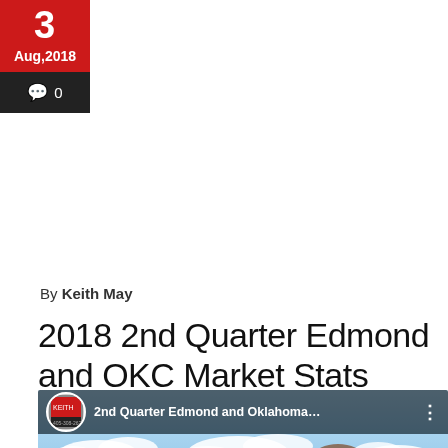3
Aug,2018
💬 0
By Keith May
2018 2nd Quarter Edmond and OKC Market Stats
[Figure (screenshot): YouTube video thumbnail showing '2nd Quarter Edmond and Oklahoma…' with a man outdoors in front of a church building under blue sky with clouds]